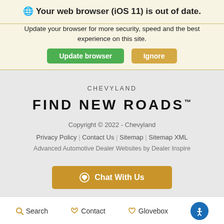🌐 Your web browser (iOS 11) is out of date.
Update your browser for more security, speed and the best experience on this site.
Update browser | Ignore
CHEVYLAND
FIND NEW ROADS™
Copyright © 2022 - Chevyland
Privacy Policy | Contact Us | Sitemap | Sitemap XML
Advanced Automotive Dealer Websites by Dealer Inspire
Chat With Us
Search  Contact  Glovebox